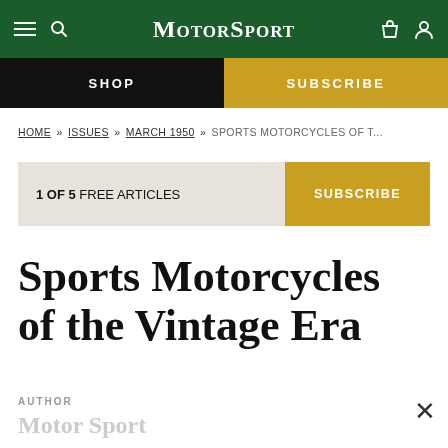Motor Sport
SHOP | SUBSCRIBE
HOME » ISSUES » MARCH 1950 » SPORTS MOTORCYCLES OF T...
1 OF 5 FREE ARTICLES  SUBSCRIBE
Sports Motorcycles of the Vintage Era
AUTHOR
Motor Sport